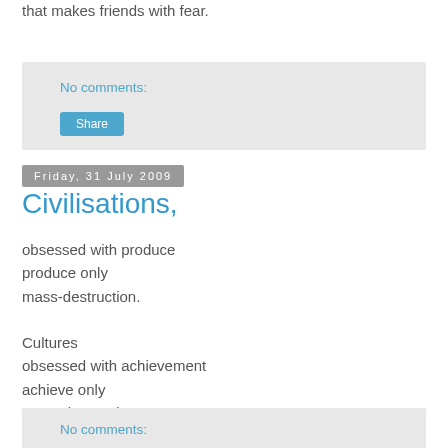that makes friends with fear.
No comments:
Share
Friday, 31 July 2009
Civilisations,
obsessed with produce
produce only
mass-destruction.

Cultures
obsessed with achievement
achieve only
mass-destruction.
No comments: